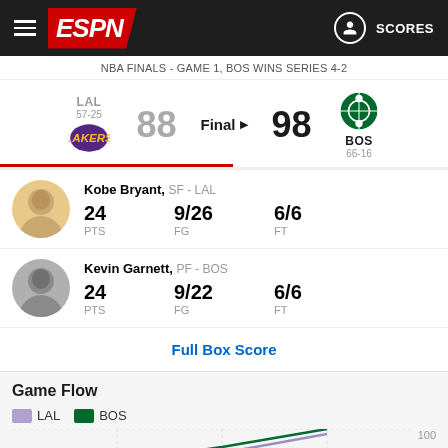ESPN - SCORES
NBA FINALS - GAME 1, BOS WINS SERIES 4-2
| Team | Score | Status | Score | Team |
| --- | --- | --- | --- | --- |
| LAL 57-25 | 88 | Final | 98 | BOS 66-16 |
Kobe Bryant, SF - LAL
24 PTS  9/26 FG  6/6 FT
Kevin Garnett, PF - BOS
24 PTS  9/22 FG  6/6 FT
Full Box Score
Game Flow
[Figure (line-chart): Game Flow]